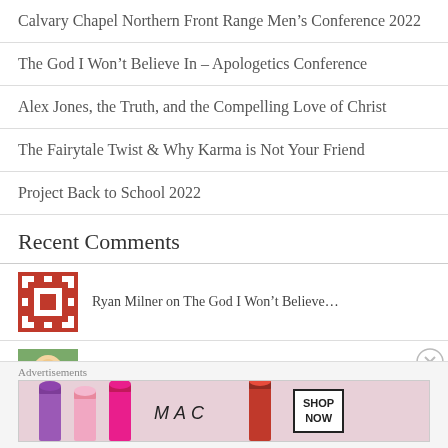Calvary Chapel Northern Front Range Men’s Conference 2022
The God I Won’t Believe In – Apologetics Conference
Alex Jones, the Truth, and the Compelling Love of Christ
The Fairytale Twist & Why Karma is Not Your Friend
Project Back to School 2022
Recent Comments
Ryan Milner on The God I Won’t Believe…
nickcady on The God I Won’t Believe…
Advertisements